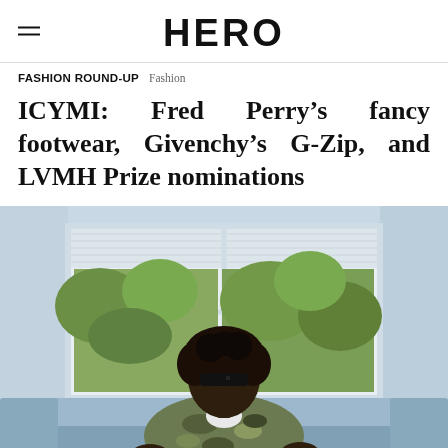HERO
FASHION ROUND-UP  Fashion
ICYMI: Fred Perry's fancy footwear, Givenchy's G-Zip, and LVMH Prize nominations
[Figure (photo): A young person with curly hair and sunglasses, wearing a camouflage patterned jacket with a Gucci patch, sitting on a light blue sofa in front of a large window with natural light and greenery visible outside.]